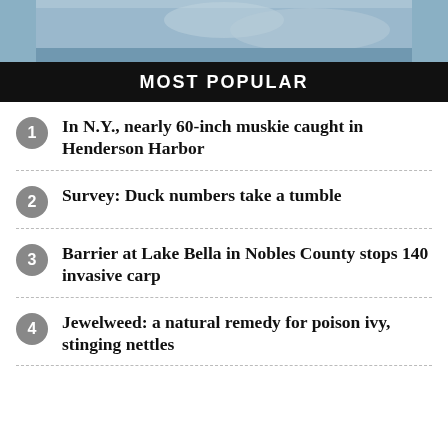[Figure (photo): Partial photo of a winter outdoor scene at the top of the page]
MOST POPULAR
In N.Y., nearly 60-inch muskie caught in Henderson Harbor
Survey: Duck numbers take a tumble
Barrier at Lake Bella in Nobles County stops 140 invasive carp
Jewelweed: a natural remedy for poison ivy, stinging nettles